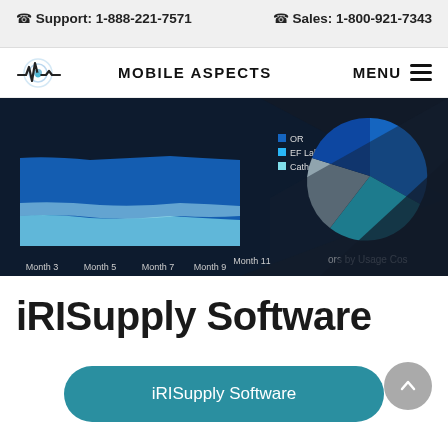Support: 1-888-221-7571    Sales: 1-800-921-7343
[Figure (logo): Mobile Aspects logo with stylized heartbeat line and wireless signal graphic, followed by text MOBILE ASPECTS and MENU hamburger icon]
[Figure (screenshot): Dashboard screenshot showing a dark-themed analytics interface with an area chart labeled with Month 3 through Month 11 on the x-axis, showing blue filled areas with legend entries for OR, EF Lab, Cath Lab; and a pie chart on the right with teal, gray, and dark blue slices partially visible, with label 'ors by Usage Cos' visible]
iRISupply Software
iRISupply Software